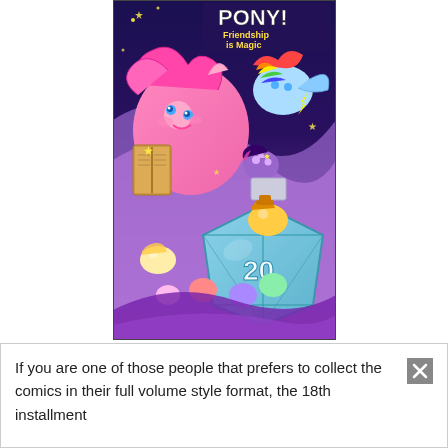[Figure (illustration): My Little Pony: Friendship is Magic comic book cover showing colorful cartoon ponies including Pinkie Pie, Rainbow Dash, Twilight Sparkle, and others around a large d20 dice, with the MLP logo visible at the top]
If you are one of those people that prefers to collect the comics in their full volume style format, the 18th installment